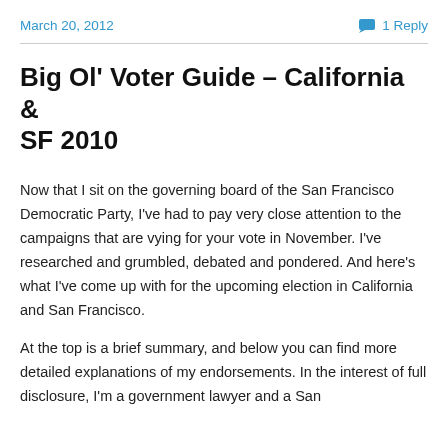March 20, 2012
1 Reply
Big Ol' Voter Guide – California & SF 2010
Now that I sit on the governing board of the San Francisco Democratic Party, I've had to pay very close attention to the campaigns that are vying for your vote in November. I've researched and grumbled, debated and pondered.  And here's what I've come up with for the upcoming election in California and San Francisco.
At the top is a brief summary, and below you can find more detailed explanations of my endorsements.  In the interest of full disclosure, I'm a government lawyer and a San